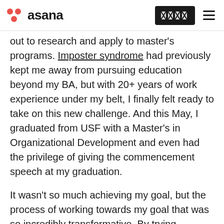asana
out to research and apply to master's programs. Imposter syndrome had previously kept me away from pursuing education beyond my BA, but with 20+ years of work experience under my belt, I finally felt ready to take on this new challenge. And this May, I graduated from USF with a Master's in Organizational Development and even had the privilege of giving the commencement speech at my graduation.
It wasn't so much achieving my goal, but the process of working towards my goal that was so incredibly transformative. By trying something challenging, I gained deep insight into who I am and